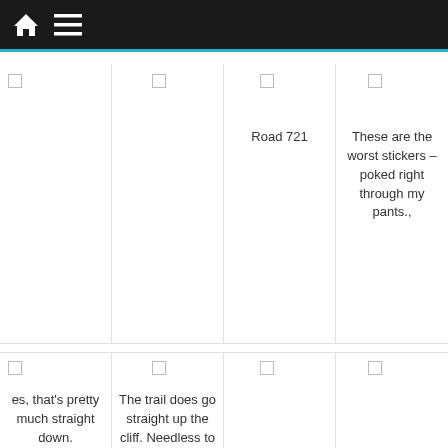Navigation bar with home icon and menu icon
Road 721
These are the worst stickers – poked right through my pants.,
es, that's pretty much straight down.
The trail does go straight up the cliff. Needless to say, the pace through this stuff...